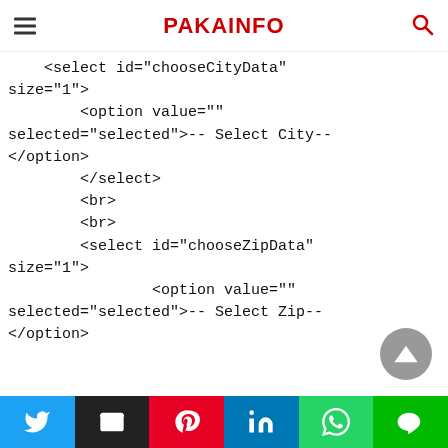PAKAINFO
<select id="chooseCityData" size="1">
        <option value="" selected="selected">-- Select City--
        </option>
        </select>
        <br>
        <br>
        <select id="chooseZipData" size="1">
                <option value="" selected="selected">-- Select Zip--
                </option>
Twitter | Email | Pinterest | LinkedIn | WhatsApp | Line